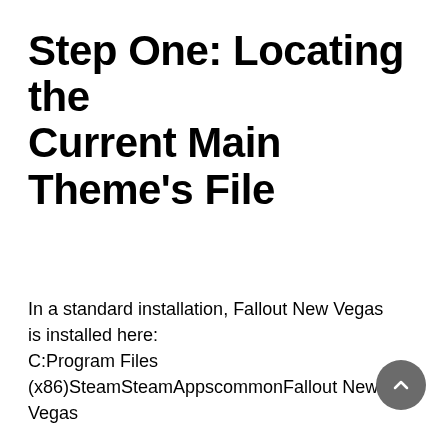Step One: Locating the Current Main Theme's File
In a standard installation, Fallout New Vegas is installed here:
C:Program Files (x86)SteamSteamAppscommonFallout New Vegas